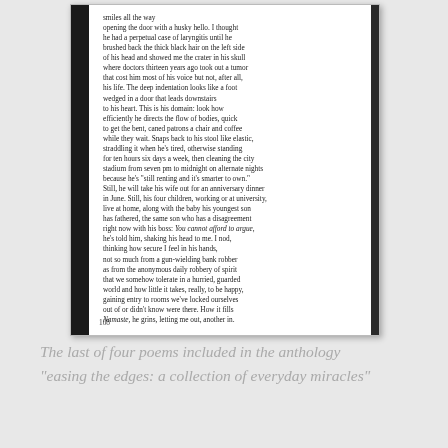[Figure (photo): Photograph of an open book page showing a poem, page 108]
smiles all the way
opening the door with a husky hello. I thought
he had a perpetual case of laryngitis until he
brushed back the thick black hair on the left side
of his head and showed me the crater in his skull
where doctors thirteen years ago took out a tumor
that cost him most of his voice but not, after all,
his life. The deep indentation looks like a foot
wedged in a door that leads downstairs
to his heart. This is his domain: look how
efficiently he directs the flow of bodies, quick
to get the bent, caned patrons a chair and coffee
while they wait. Snaps back to his stool like elastic,
straddling it when he's tired, otherwise standing
for ten hours six days a week, then cleaning the city
stadium from seven pm to midnight on alternate nights
because he's "still renting and it's smarter to own."
Still, he will take his wife out for an anniversary dinner
in June. Still, his four children, working or at university,
live at home, along with the baby his youngest son
has fathered, the same son who has a disagreement
right now with his boss: You cannot afford to argue,
he's told him, shaking his head to me. I nod,
thinking how secure I feel in his hands,
not so much from a gun-wielding bank robber
as from the anonymous daily robbery of spirit
that we somehow tolerate in a hurried, guarded
world and how little it takes, really, to be happy,
gaining entry to rooms we've locked ourselves
out of or didn't know were there. How it fills
Namaste, he grins, letting me out, another in.
108
The last of four poems included in the anthology
"easing the edges: a collection of everyday miracles"